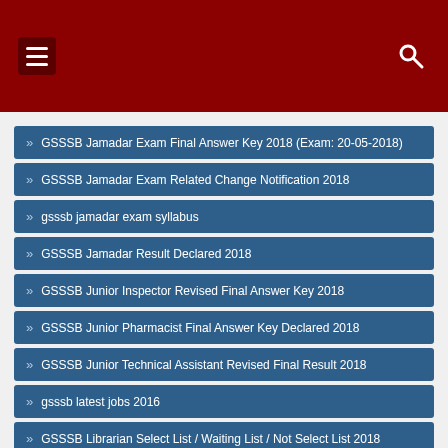Navigation header with hamburger menu and search icon
» GSSSB Jamadar Exam Final Answer Key 2018 (Exam: 20-05-2018)
» GSSSB Jamadar Exam Related Change Notification 2018
» gsssb jamadar exam syllabus
» GSSSB Jamadar Result Declared 2018
» GSSSB Junior Inspector Revised Final Answer Key 2018
» GSSSB Junior Pharmacist Final Answer Key Declared 2018
» GSSSB Junior Technical Assistant Revised Final Result 2018
» gsssb latest jobs 2016
» GSSSB Librarian Select List / Waiting List / Not Select List 2018
» GSSSB Livestock Inspector Revised Final Answer Key 2018
» GSSSB Lower Level Departmental Exam Roll Number and Exam
» GSSSB Municipal Accountant Select List / Waiting List / Absent List